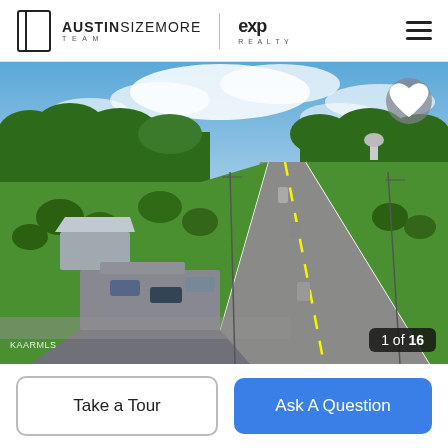AUSTINSIZEMORE TEAM | eXp Realty
[Figure (photo): Aerial drone photo of a rural commercial property with a metal building and parking area adjacent to a two-lane highway. Green lawns and trees visible. Several cars parked. Water tower visible in the background. Clear blue sky with clouds. KAARMLS watermark bottom left, '1 of 16' counter bottom right.]
Take a Tour
Ask A Question